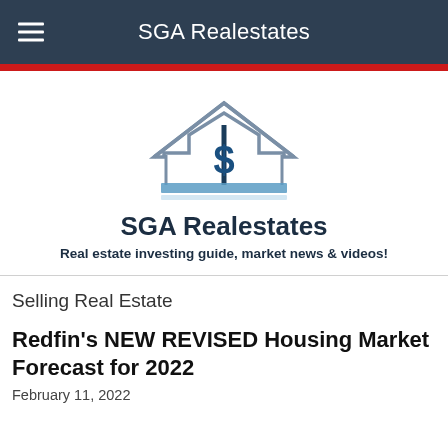SGA Realestates
[Figure (logo): SGA Realestates logo: a house outline with a dollar sign in the center and a blue horizontal bar beneath]
SGA Realestates
Real estate investing guide, market news & videos!
Selling Real Estate
Redfin's NEW REVISED Housing Market Forecast for 2022
February 11, 2022